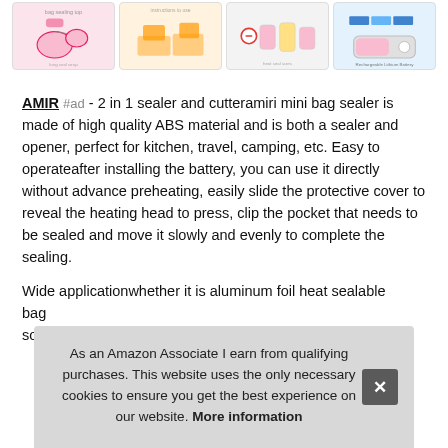[Figure (screenshot): Four product thumbnail images of bag sealers in a horizontal strip: pink bag sealer diagram, hands using orange sealer, pink sealer with bags, and blue/white portable battery-style sealer.]
AMIR #ad - 2 in 1 sealer and cutteramiri mini bag sealer is made of high quality ABS material and is both a sealer and opener, perfect for kitchen, travel, camping, etc. Easy to operateafter installing the battery, you can use it directly without advance preheating, easily slide the protective cover to reveal the heating head to press, clip the pocket that needs to be sealed and move it slowly and evenly to complete the sealing.
Wide applicationwhether it is aluminum foil heat sealable bag solv
As an Amazon Associate I earn from qualifying purchases. This website uses the only necessary cookies to ensure you get the best experience on our website. More information